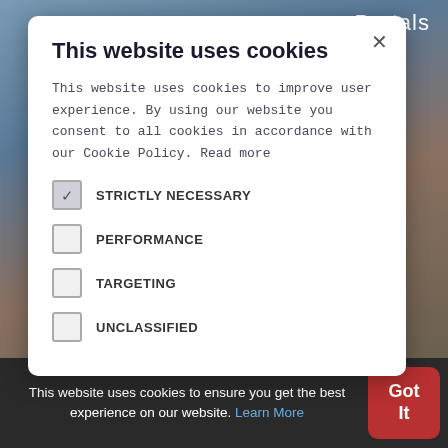[Figure (photo): Background photo of young people sitting outdoors on a beach/sandy area, with a bluish-gray overlay. The word 'Portals' appears in white text in the top right.]
This website uses cookies
This website uses cookies to improve user experience. By using our website you consent to all cookies in accordance with our Cookie Policy. Read more
STRICTLY NECESSARY (checked)
PERFORMANCE
TARGETING
UNCLASSIFIED
This website uses cookies to ensure you get the best experience on our website. Learn More